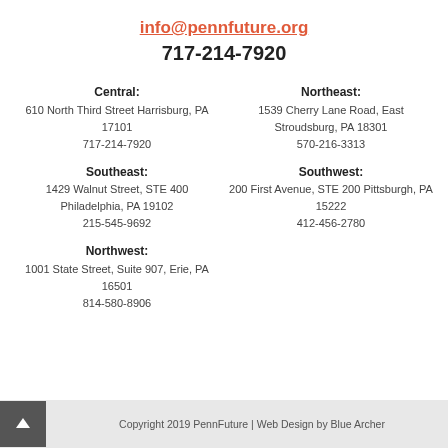info@pennfuture.org
717-214-7920
Central:
610 North Third Street Harrisburg, PA 17101
717-214-7920
Northeast:
1539 Cherry Lane Road, East Stroudsburg, PA 18301
570-216-3313
Southeast:
1429 Walnut Street, STE 400
Philadelphia, PA 19102
215-545-9692
Southwest:
200 First Avenue, STE 200 Pittsburgh, PA 15222
412-456-2780
Northwest:
1001 State Street, Suite 907, Erie, PA 16501
814-580-8906
Copyright 2019 PennFuture | Web Design by Blue Archer